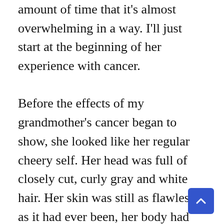amount of time that it's almost overwhelming in a way. I'll just start at the beginning of her experience with cancer.

Before the effects of my grandmother's cancer began to show, she looked like her regular cheery self. Her head was full of closely cut, curly gray and white hair. Her skin was still as flawless as it had ever been, her body had the same solid yet muscular build that she had developed years before I was born, her blindingly white smile was still as prominent as ever, and her eyes were still vivid, wild and